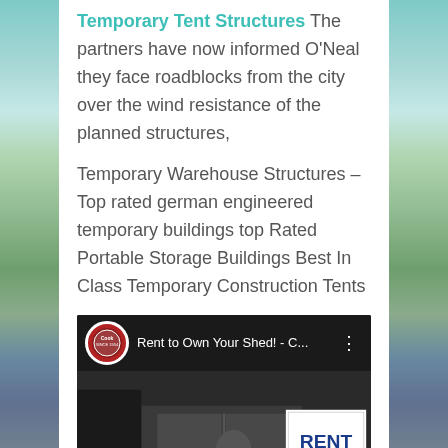Temporary Tent Structures The partners have now informed O'Neal they face roadblocks from the city over the wind resistance of the planned structures,
Temporary Warehouse Structures – Top rated german engineered temporary buildings top Rated Portable Storage Buildings Best In Class Temporary Construction Tents
[Figure (screenshot): YouTube video embed showing 'Rent to Own Your Shed! - C...' with a Cook Portable Warehouses logo thumbnail, a man in a red shirt standing in front of a 'RENT-TO-OWN' sign]